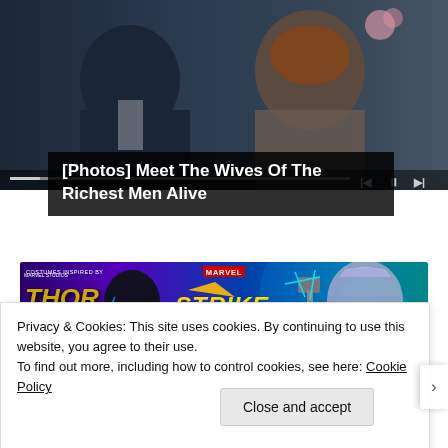[Figure (photo): Screenshot of a webpage showing a video player with two people sitting (man in blue suit, woman in lace top), with media playback controls visible]
[Photos] Meet The Wives Of The Richest Men Alive
[Figure (photo): Marvel Strike Force advertisement banner with Thor: Love and Thunder co-branding, featuring two animated superhero characters on a purple/teal gradient background]
Privacy & Cookies: This site uses cookies. By continuing to use this website, you agree to their use.
To find out more, including how to control cookies, see here: Cookie Policy
Close and accept